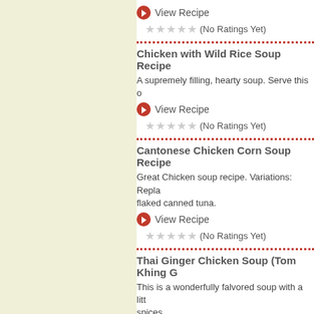View Recipe
(No Ratings Yet)
Chicken with Wild Rice Soup Recipe
A supremely filling, hearty soup. Serve this o
View Recipe
(No Ratings Yet)
Cantonese Chicken Corn Soup Recipe
Great Chicken soup recipe. Variations: Repla flaked canned tuna.
View Recipe
(No Ratings Yet)
Thai Ginger Chicken Soup (Tom Khing G
This is a wonderfully falvored soup with a litt spices.